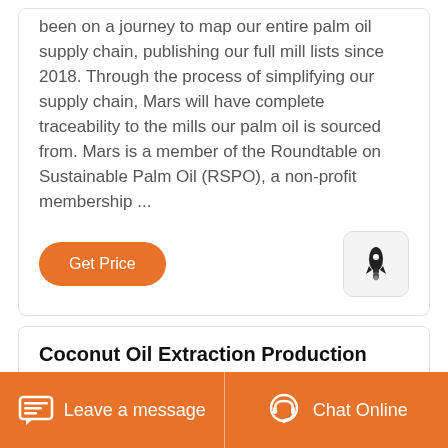been on a journey to map our entire palm oil supply chain, publishing our full mill lists since 2018. Through the process of simplifying our supply chain, Mars will have complete traceability to the mills our palm oil is sourced from. Mars is a member of the Roundtable on Sustainable Palm Oil (RSPO), a non-profit membership ...
Get Price
Coconut Oil Extraction Production Line/Copra Oil ...
[Figure (photo): Industrial factory interior showing a production line facility with overhead lighting and structural steel framework]
Leave a message   Chat Online